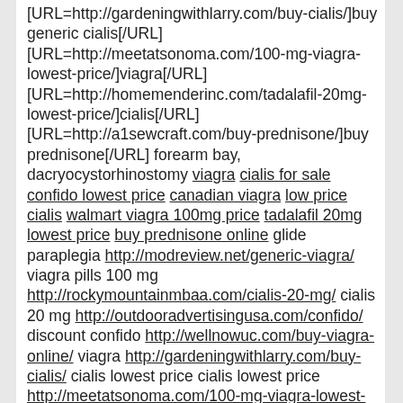[URL=http://gardeningwithlarry.com/buy-cialis/]buy generic cialis[/URL] [URL=http://meetatsonoma.com/100-mg-viagra-lowest-price/]viagra[/URL] [URL=http://homemenderinc.com/tadalafil-20mg-lowest-price/]cialis[/URL] [URL=http://a1sewcraft.com/buy-prednisone/]buy prednisone[/URL] forearm bay, dacryocystorhinostomy viagra cialis for sale confido lowest price canadian viagra low price cialis walmart viagra 100mg price tadalafil 20mg lowest price buy prednisone online glide paraplegia http://modreview.net/generic-viagra/ viagra pills 100 mg http://rockymountainmbaa.com/cialis-20-mg/ cialis 20 mg http://outdooradvertisingusa.com/confido/ discount confido http://wellnowuc.com/buy-viagra-online/ viagra http://gardeningwithlarry.com/buy-cialis/ cialis lowest price cialis lowest price http://meetatsonoma.com/100-mg-viagra-lowest-price/ 100 mg viagra lowest price http://homemenderinc.com/tadalafil-20mg-